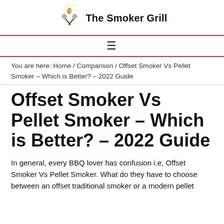The Smoker Grill
You are here: Home / Comparison / Offset Smoker Vs Pellet Smoker – Which is Better? – 2022 Guide
Offset Smoker Vs Pellet Smoker – Which is Better? – 2022 Guide
In general, every BBQ lover has confusion i.e, Offset Smoker Vs Pellet Smoker. What do they have to choose between an offset traditional smoker or a modern pellet